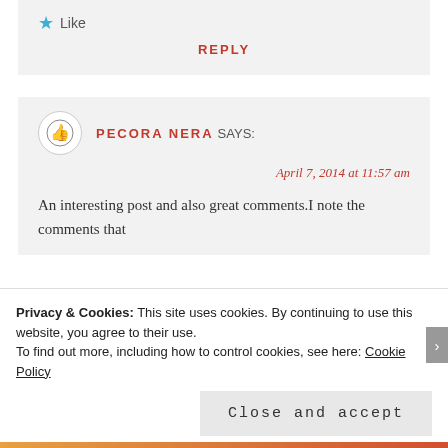★ Like
REPLY
PECORA NERA SAYS:
April 7, 2014 at 11:57 am
An interesting post and also great comments.I note the comments that
Privacy & Cookies: This site uses cookies. By continuing to use this website, you agree to their use.
To find out more, including how to control cookies, see here: Cookie Policy
Close and accept